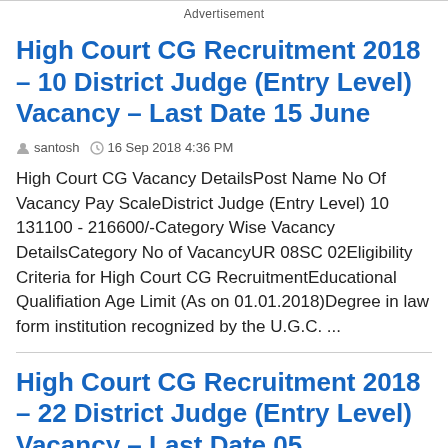Advertisement
High Court CG Recruitment 2018 – 10 District Judge (Entry Level) Vacancy – Last Date 15 June
santosh   16 Sep 2018 4:36 PM
High Court CG Vacancy DetailsPost Name No Of Vacancy Pay ScaleDistrict Judge (Entry Level) 10 131100 - 216600/-Category Wise Vacancy DetailsCategory No of VacancyUR 08SC 02Eligibility Criteria for High Court CG RecruitmentEducational Qualifiation Age Limit (As on 01.01.2018)Degree in law form institution recognized by the U.G.C. ...
High Court CG Recruitment 2018 – 22 District Judge (Entry Level) Vacancy – Last Date 05 September